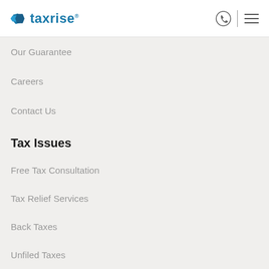taxrise
Our Guarantee
Careers
Contact Us
Tax Issues
Free Tax Consultation
Tax Relief Services
Back Taxes
Unfiled Taxes
Received IRS Notice
Tax Levy